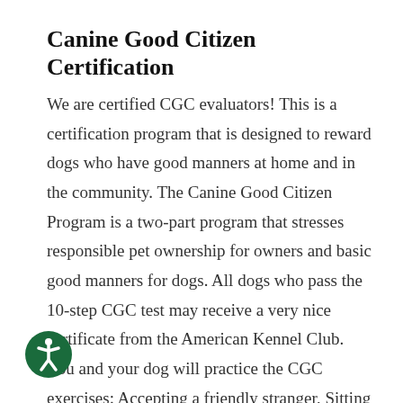Canine Good Citizen Certification
We are certified CGC evaluators! This is a certification program that is designed to reward dogs who have good manners at home and in the community. The Canine Good Citizen Program is a two-part program that stresses responsible pet ownership for owners and basic good manners for dogs. All dogs who pass the 10-step CGC test may receive a very nice certificate from the American Kennel Club. You and your dog will practice the CGC exercises: Accepting a friendly stranger, Sitting politely for petting, Appearance & grooming, out for a walk (loose leash walking), Walking through a crowd, Sit and down on command
[Figure (illustration): Green circular accessibility icon with a human figure in white]